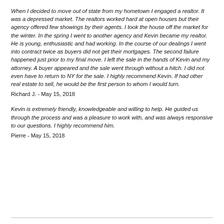When I decided to move out of state from my hometown I engaged a realtor. It was a depressed market. The realtors worked hard at open houses but their agency offered few showings by their agents. I took the house off the market for the winter. In the spring I went to another agency and Kevin became my realtor. He is young, enthusiastic and had working. In the course of our dealings I went into contract twice as buyers did not get their mortgages. The second failure happened just prior to my final move. I left the sale in the hands of Kevin and my attorney. A buyer appeared and the sale went through without a hitch. I did not even have to return to NY for the sale. I highly recommend Kevin. If had other real estate to sell, he would be the first person to whom I would turn.
Richard J. - May 15, 2018
Kevin is extremely friendly, knowledgeable and willing to help. He guided us through the process and was a pleasure to work with, and was always responsive to our questions. I highly recommend him.
Pierre - May 15, 2018